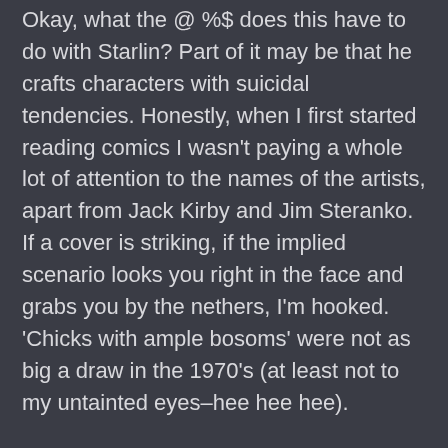Okay, what the @ %$ does this have to do with Starlin? Part of it may be that he crafts characters with suicidal tendencies. Honestly, when I first started reading comics I wasn't paying a whole lot of attention to the names of the artists, apart from Jack Kirby and Jim Steranko. If a cover is striking, if the implied scenario looks you right in the face and grabs you by the nethers, I'm hooked. 'Chicks with ample bosoms' were not as big a draw in the 1970's (at least not to my untainted eyes–hee hee hee).
I didn't make a connection between what I was feeling and what I was reading till one night at work. I work the late shift; there's not that many people in the store, which means I usually have way too much time to think. I was reading his book, The